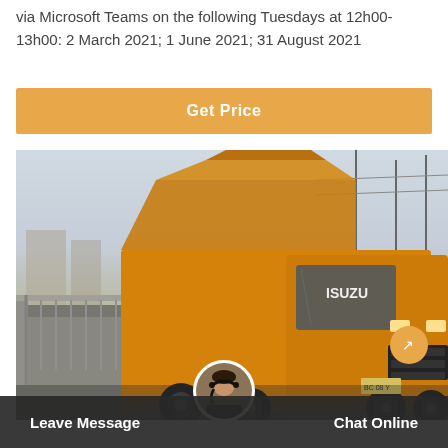via Microsoft Teams on the following Tuesdays at 12h00-13h00: 2 March 2021; 1 June 2021; 31 August 2021
Get Price
[Figure (photo): Yellow Isuzu truck with open cargo cover parked on a raised bridge/rail platform. Industrial infrastructure visible in background.]
Leave Message
Chat Online